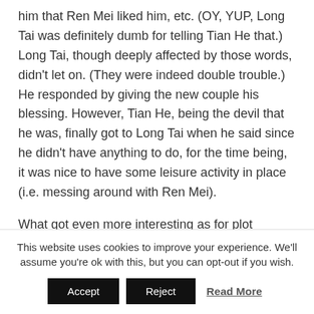him that Ren Mei liked him, etc. (OY, YUP, Long Tai was definitely dumb for telling Tian He that.) Long Tai, though deeply affected by those words, didn't let on. (They were indeed double trouble.) He responded by giving the new couple his blessing. However, Tian He, being the devil that he was, finally got to Long Tai when he said since he didn't have anything to do, for the time being, it was nice to have some leisure activity in place (i.e. messing around with Ren Mei).
What got even more interesting as for plot development was how Wen Zi had sent a text message to Ren Mei, saying that she couldn't wait for Long Tai so
This website uses cookies to improve your experience. We'll assume you're ok with this, but you can opt-out if you wish.
Accept | Reject | Read More